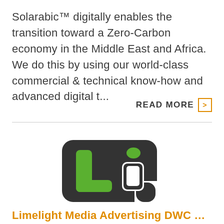Solarabic™ digitally enables the transition toward a Zero-Carbon economy in the Middle East and Africa. We do this by using our world-class commercial & technical know-how and advanced digital t...
READ MORE >
[Figure (logo): Limelight Media logo — dark charcoal rounded rectangle containing green 'L' and 'i' letterforms]
Limelight Media Advertising DWC LLC